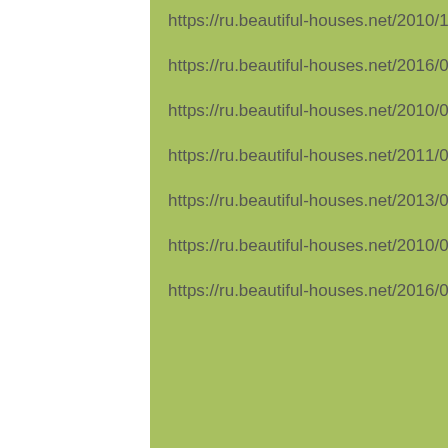https://ru.beautiful-houses.net/2010/10/blog-post_10.html-8
https://ru.beautiful-houses.net/2016/01/blog-post.html-8
https://ru.beautiful-houses.net/2010/08/krasivye-starinnye-doma-avstrii.html-8
https://ru.beautiful-houses.net/2011/06/blog-post_25.html-8
https://ru.beautiful-houses.net/2013/03/wildcat-ranch.html-8
https://ru.beautiful-houses.net/2010/08/doma-na-dereve.html-8
https://ru.beautiful-houses.net/2016/03/blog-post_8.html-8
[Figure (photo): Photo on right side showing dark object (possibly car) above green leafy plants/shrubs]